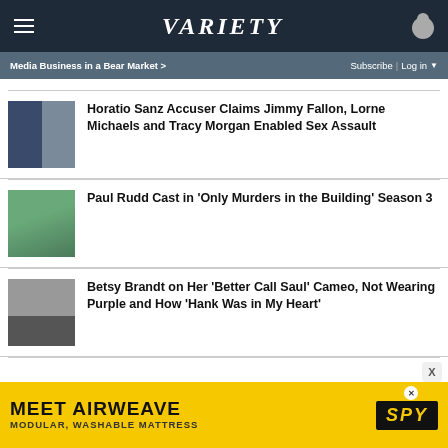VARIETY
Media Business in a Bear Market >     Subscribe | Log in ▼
Horatio Sanz Accuser Claims Jimmy Fallon, Lorne Michaels and Tracy Morgan Enabled Sex Assault
Paul Rudd Cast in ‘Only Murders in the Building’ Season 3
Betsy Brandt on Her ‘Better Call Saul’ Cameo, Not Wearing Purple and How ‘Hank Was in My Heart’
[Figure (photo): Advertisement banner: MEET AIRWEAVE - MODULAR, WASHABLE MATTRESS with SPY logo]